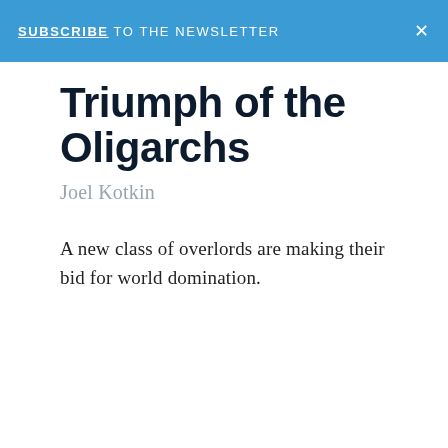SUBSCRIBE TO THE NEWSLETTER ×
Triumph of the Oligarchs
Joel Kotkin
A new class of overlords are making their bid for world domination.